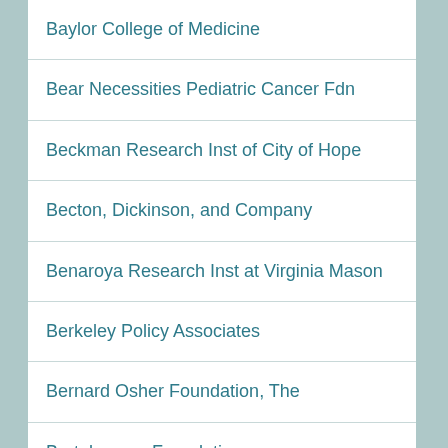Baylor College of Medicine
Bear Necessities Pediatric Cancer Fdn
Beckman Research Inst of City of Hope
Becton, Dickinson, and Company
Benaroya Research Inst at Virginia Mason
Berkeley Policy Associates
Bernard Osher Foundation, The
Bertelsmann Foundation
BiPar Sciences, Inc.